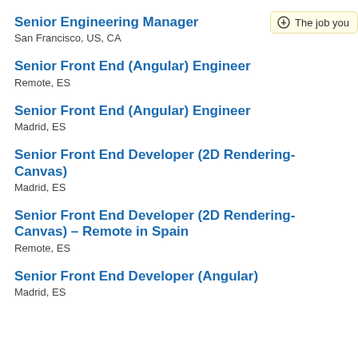Senior Engineering Manager
San Francisco, US, CA
Senior Front End (Angular) Engineer
Remote, ES
Senior Front End (Angular) Engineer
Madrid, ES
Senior Front End Developer (2D Rendering-Canvas)
Madrid, ES
Senior Front End Developer (2D Rendering-Canvas) – Remote in Spain
Remote, ES
Senior Front End Developer (Angular)
Madrid, ES